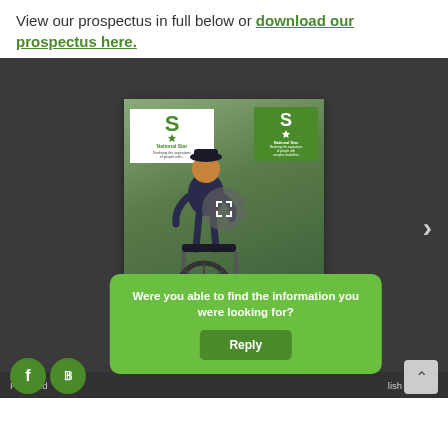View our prospectus in full below or download our prospectus here.
[Figure (screenshot): A document viewer carousel showing a National Star prospectus cover featuring a young man in a wheelchair outside a building with National Star branding. The card caption reads 'National Star in Wales – Create your brighter future'. A green popup overlay asks 'Were you able to find the information you were looking for?' with a Reply button. Social media icons (Facebook, Twitter) and navigation arrows are visible.]